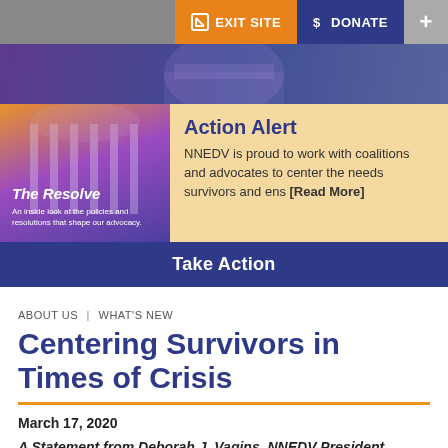EXIT SITE  DONATE  +
[Figure (screenshot): Website screenshot with orange and purple gradient hero image showing a capitol building, orange/amber action alert panel with 'The Resolve' title and 'Action Alert' section, and a blue 'Take Action' button bar]
ABOUT US | WHAT'S NEW
Centering Survivors in Times of Crisis
March 17, 2020
A Statement from Deborah J. Vagins, NNEDV President